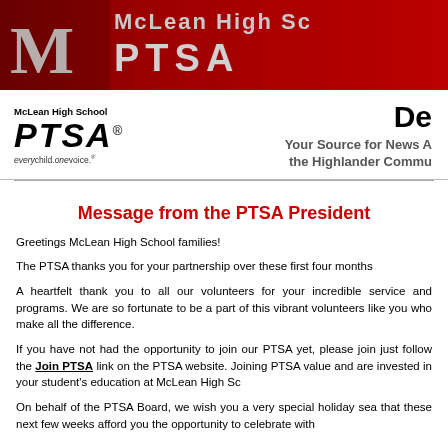[Figure (logo): McLean High School PTSA banner header with MC logo and PTSA text on dark red background]
[Figure (logo): McLean High School PTSA logo with 'every child. one voice.' tagline]
De... Your Source for News About the Highlander Community
Message from the PTSA President
Greetings McLean High School families!
The PTSA thanks you for your partnership over these first four months...
A heartfelt thank you to all our volunteers for your incredible service and programs. We are so fortunate to be a part of this vibrant volunteers like you who make all the difference.
If you have not had the opportunity to join our PTSA yet, please join just follow the Join PTSA link on the PTSA website. Joining PTSA value and are invested in your student's education at McLean High School.
On behalf of the PTSA Board, we wish you a very special holiday season that these next few weeks afford you the opportunity to celebrate with...